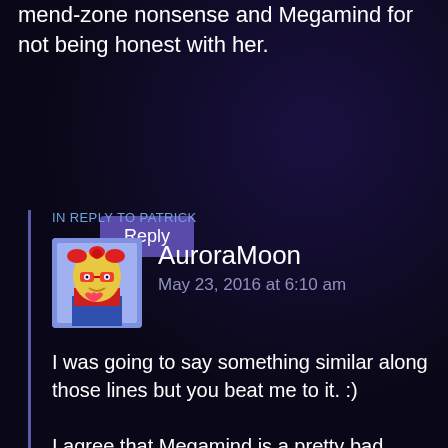mend-zone nonsense and Megamind for not being honest with her.
Reply
IN REPLY TO PATRICK
[Figure (illustration): Avatar image of AuroraMoon - cartoon character with yellow hair, red glasses, wearing red and blue outfit]
AuroraMoon
May 23, 2016 at 6:10 am
I was going to say something similar along those lines but you beat me to it. :)
I agree that Megamind is a pretty bad example to use for toxic relationships. As seeing that the movie very deliberately brings up those tropes,